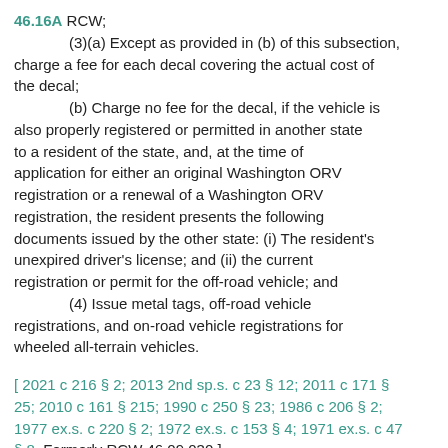46.16A RCW; (3)(a) Except as provided in (b) of this subsection, charge a fee for each decal covering the actual cost of the decal; (b) Charge no fee for the decal, if the vehicle is also properly registered or permitted in another state to a resident of the state, and, at the time of application for either an original Washington ORV registration or a renewal of a Washington ORV registration, the resident presents the following documents issued by the other state: (i) The resident's unexpired driver's license; and (ii) the current registration or permit for the off-road vehicle; and (4) Issue metal tags, off-road vehicle registrations, and on-road vehicle registrations for wheeled all-terrain vehicles.
[ 2021 c 216 § 2; 2013 2nd sp.s. c 23 § 12; 2011 c 171 § 25; 2010 c 161 § 215; 1990 c 250 § 23; 1986 c 206 § 2; 1977 ex.s. c 220 § 2; 1972 ex.s. c 153 § 4; 1971 ex.s. c 47 § 8. Formerly RCW 46.09.030.]